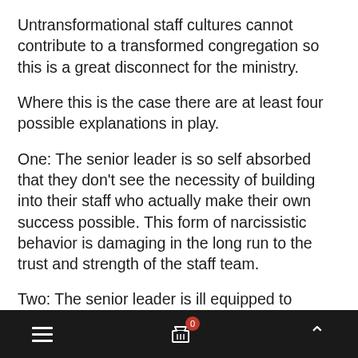Untransformational staff cultures cannot contribute to a transformed congregation so this is a great disconnect for the ministry.
Where this is the case there are at least four possible explanations in play.
One: The senior leader is so self absorbed that they don't see the necessity of building into their staff who actually make their own success possible. This form of narcissistic behavior is damaging in the long run to the trust and strength of the staff team.
Two: The senior leader is ill equipped to
≡  🛒 0  ∧